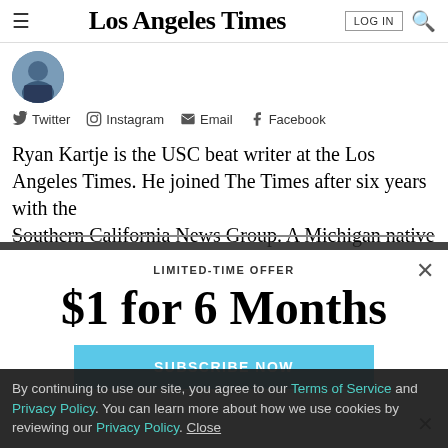Los Angeles Times
[Figure (photo): Author avatar photo, circular crop, person in suit]
Twitter  Instagram  Email  Facebook
Ryan Kartje is the USC beat writer at the Los Angeles Times. He joined The Times after six years with the Southern California News Group. A Michigan native
LIMITED-TIME OFFER
$1 for 6 Months
SUBSCRIBE NOW
By continuing to use our site, you agree to our Terms of Service and Privacy Policy. You can learn more about how we use cookies by reviewing our Privacy Policy. Close